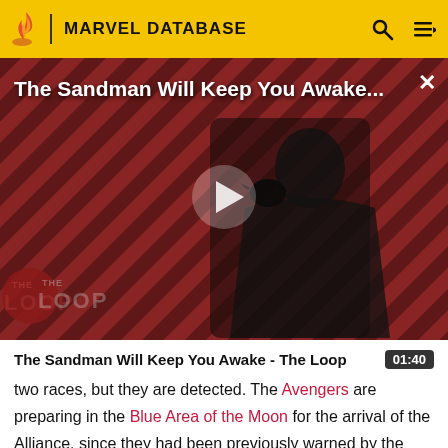MARVEL DATABASE
[Figure (screenshot): Video thumbnail for 'The Sandman Will Keep You Awake - The Loop' showing a dark figure in black robes against a red and black diagonal striped background, with a play button overlay and 'THE LOOP' watermark logo in the bottom left.]
The Sandman Will Keep You Awake - The Loop  01:40
two races, but they are detected. The Avengers are preparing in the Blue Area of the Moon for the arrival of the Alliance, since they had been previously warned by the Cotati of the Kree and the Skrull's intention to